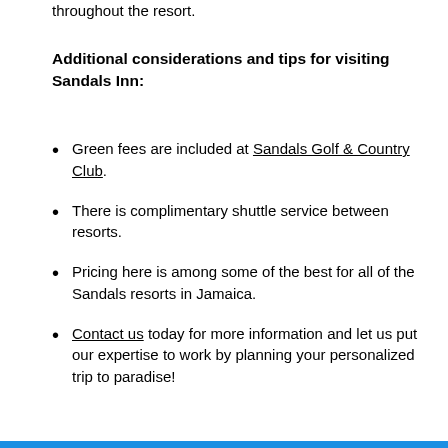throughout the resort.
Additional considerations and tips for visiting Sandals Inn:
Green fees are included at Sandals Golf & Country Club.
There is complimentary shuttle service between resorts.
Pricing here is among some of the best for all of the Sandals resorts in Jamaica.
Contact us today for more information and let us put our expertise to work by planning your personalized trip to paradise!